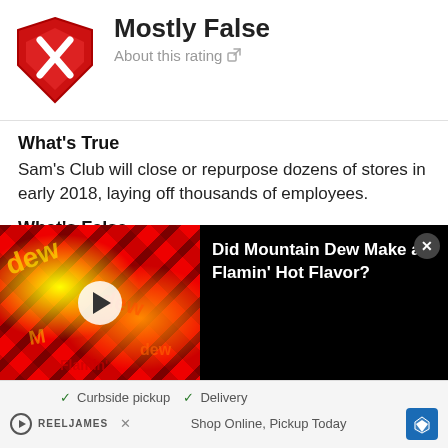[Figure (logo): Snopes 'Mostly False' rating badge — red downward-pointing chevron with white X]
Mostly False
About this rating ↗
What's True
Sam's Club will close or repurpose dozens of stores in early 2018, laying off thousands of employees.
What's False
The number of stores affected is 63, not 250; the number of workers involved is around 10,000,
[Figure (screenshot): Video thumbnail showing Mountain Dew Flamin' Hot packaging with red/yellow design and play button overlay. Title reads: Did Mountain Dew Make a Flamin' Hot Flavor?]
[Figure (screenshot): Advertisement banner showing Curbside pickup and Delivery checkmarks, Shop Online, Pickup Today text with map/navigation icon]